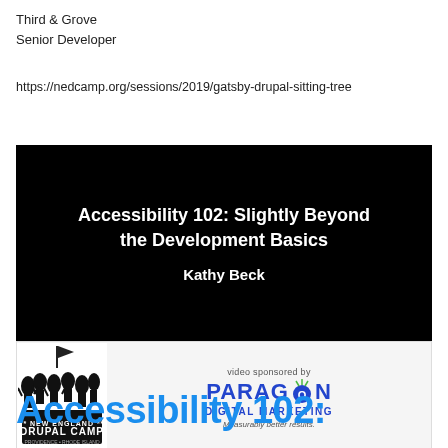Third & Grove
Senior Developer
https://nedcamp.org/sessions/2019/gatsby-drupal-sitting-tree
[Figure (screenshot): Video thumbnail showing 'Accessibility 102: Slightly Beyond the Development Basics' by Kathy Beck, with New England Drupal Camp logo and Paragon Digital Marketing sponsorship banner]
Accessibility 102: